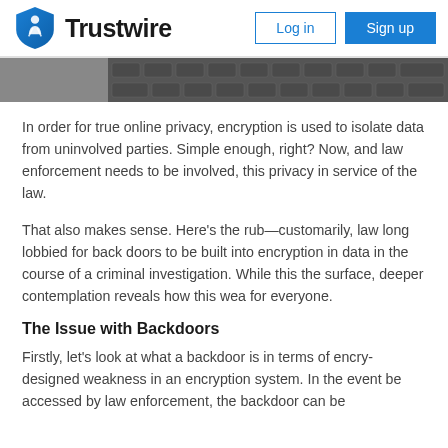Trustwire — Log in | Sign up
[Figure (photo): Partial view of a keyboard in dark grey tones, cropped on the right side of the header area.]
In order for true online privacy, encryption is used to isolate data from uninvolved parties. Simple enough, right? Now, when and law enforcement needs to be involved, this privacy must be in service of the law.
That also makes sense. Here's the rub—customarily, law has long lobbied for back doors to be built into encryption in order to access data in the course of a criminal investigation. While this may seem sound on the surface, deeper contemplation reveals how this weakens security for everyone.
The Issue with Backdoors
Firstly, let's look at what a backdoor is in terms of encryption. It is a designed weakness in an encryption system. In the event that data needs to be accessed by law enforcement, the backdoor can be